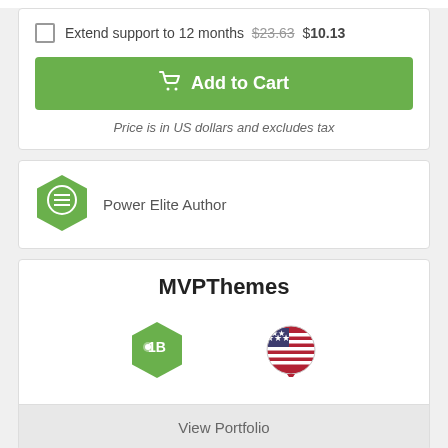Extend support to 12 months $23.63 $10.13
Add to Cart
Price is in US dollars and excludes tax
Power Elite Author
MVPThemes
View Portfolio
Last Update   9 November 2021